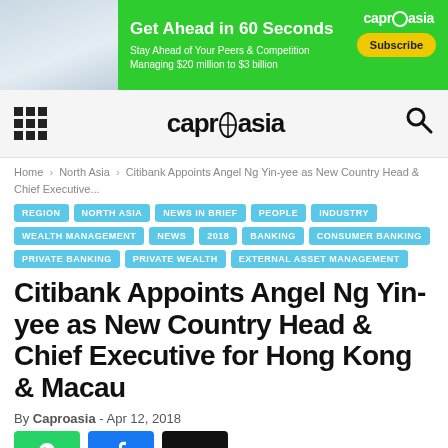[Figure (photo): Advertisement banner for Caproasia: green background with woman photo, headline 'Get Ahead in 60 Seconds', subtext 'Stay Ahead of Your Peers & Competition Managing $20 million to $3 billion', yellow Subscribe button, caproasia logo top right]
[Figure (logo): Caproasia navigation bar with grid/hamburger icon on left, caproasia logo in center, search icon on right, on light grey background]
Home › North Asia › Citibank Appoints Angel Ng Yin-yee as New Country Head & Chief Executive...
REGION
NORTH ASIA
NEWS IN BRIEF
PEOPLE
INDUSTRY
WEALTH MANAGEMENT
NEWS
2018
BANKING
CONSUMER BANKING
PRIVATE BANKING
PRIVATE WEALTH
EXTERNAL ASSET MANAGEMENT
Citibank Appoints Angel Ng Yin-yee as New Country Head & Chief Executive for Hong Kong & Macau
By Caproasia - Apr 12, 2018
[Figure (photo): Partial view of three social sharing buttons: green WhatsApp, blue Facebook, black Twitter/X]